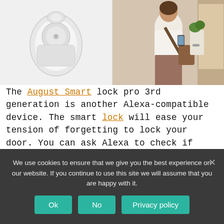[Figure (photo): Two product images side by side: left shows August Smart Lock device (white/gray cylindrical smart lock), right shows a woman carrying grocery bags unlocking a door with her phone]
The August Smart lock pro 3rd generation is another Alexa-compatible device. The smart lock will ease your tension of forgetting to lock your door. You can ask Alexa to check if your door is closed or not. This smart lock design is better than its predecessor and doesn't take much space on your doors. Lock and unlock your door from anywhere and give secure digital keys to guests. Control your August Smart
We use cookies to ensure that we give you the best experience on our website. If you continue to use this site we will assume that you are happy with it.